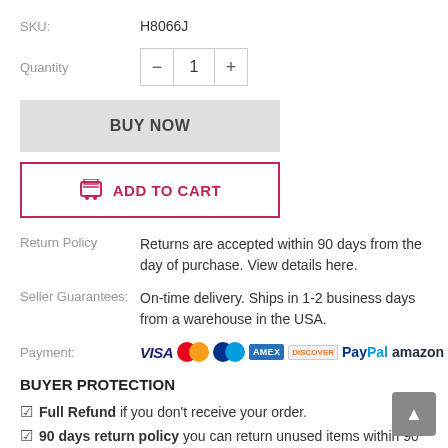SKU: H8066J
Quantity 1
BUY NOW
ADD TO CART
Return Policy  Returns are accepted within 90 days from the day of purchase. View details here.
Seller Guarantees: On-time delivery. Ships in 1-2 business days from a warehouse in the USA.
Payment: VISA Mastercard Maestro AMEX Discover PayPal amazon
BUYER PROTECTION
Full Refund if you don't receive your order.
90 days return policy you can return unused items within 90